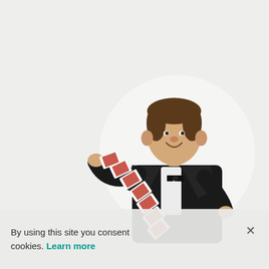[Figure (photo): A smiling young man in a black tuxedo with bow tie performing a card trick — fanning/cascading playing cards between his two hands. He is inside a circular cropped frame on a light gray background.]
By using this site you consent cookies. Learn more